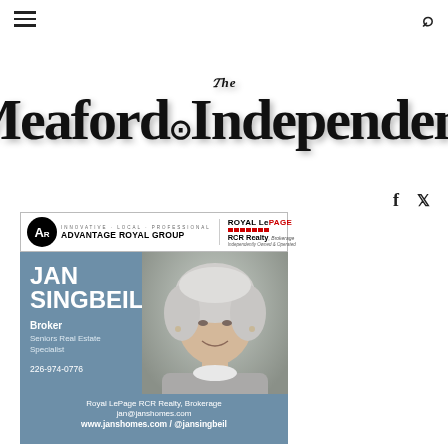The Meaford Independent
[Figure (logo): The Meaford Independent newspaper masthead logo in bold serif blackletter typeface]
[Figure (logo): Advantage Royal Group / Royal LePage RCR Realty brokerage logo banner]
[Figure (photo): Advertisement for Jan Singbeil, Broker / Seniors Real Estate Specialist at Royal LePage RCR Realty, Brokerage. Phone: 226-974-0776. Email: jan@janshomes.com. Website: www.janshomes.com / @jansingbeil. Includes professional headshot photo of woman with grey-white hair in grey blazer.]